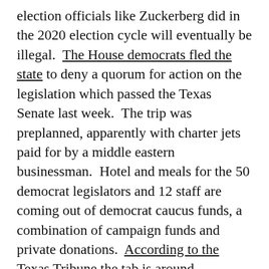election officials like Zuckerberg did in the 2020 election cycle will eventually be illegal.  The House democrats fled the state to deny a quorum for action on the legislation which passed the Texas Senate last week.  The trip was preplanned, apparently with charter jets paid for by a middle eastern businessman.  Hotel and meals for the 50 democrat legislators and 12 staff are coming out of democrat caucus funds, a combination of campaign funds and private donations.  According to the Texas Tribune the tab is around $10,000/day.   Here's where it gets fun, starting with gleeful selfies taken on the jets, complete with unmasked democrats and at least one case of Miller Lite.  The unmasking is in clear violation of Joe Biden's Executive Order mandating masks on all public transportation, which includes air travel for hire all the way to Uber and Lyft.  Fines for this particular trip are in the vicinity of a million and a half dollars, though as democrats in a two-